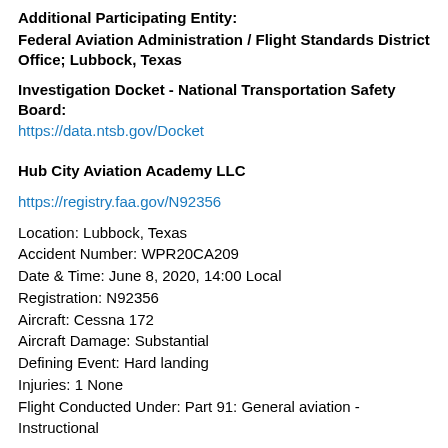Additional Participating Entity:
Federal Aviation Administration / Flight Standards District Office; Lubbock, Texas
Investigation Docket - National Transportation Safety Board:
https://data.ntsb.gov/Docket
Hub City Aviation Academy LLC
https://registry.faa.gov/N92356
Location: Lubbock, Texas
Accident Number: WPR20CA209
Date & Time: June 8, 2020, 14:00 Local
Registration: N92356
Aircraft: Cessna 172
Aircraft Damage: Substantial
Defining Event: Hard landing
Injuries: 1 None
Flight Conducted Under: Part 91: General aviation - Instructional
Analysis